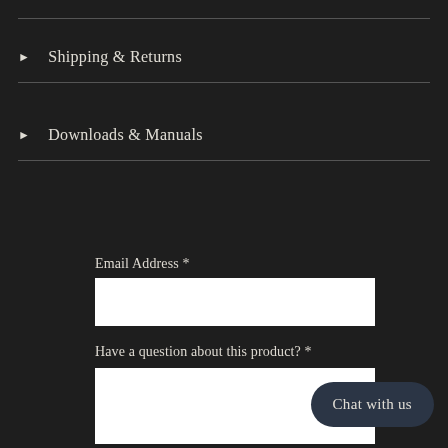▶  Shipping & Returns
▶  Downloads & Manuals
Email Address *
Have a question about this product? *
Chat with us